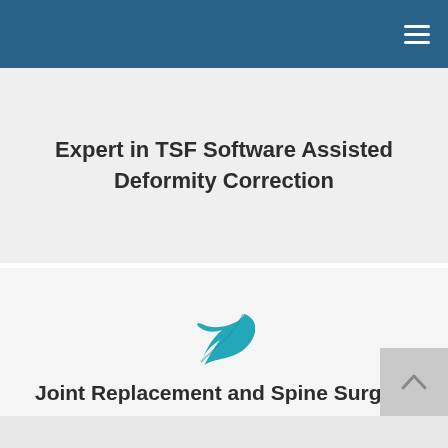Expert in TSF Software Assisted Deformity Correction
[Figure (illustration): Teal/cyan leaf icon]
Joint Replacement and Spine Surgery